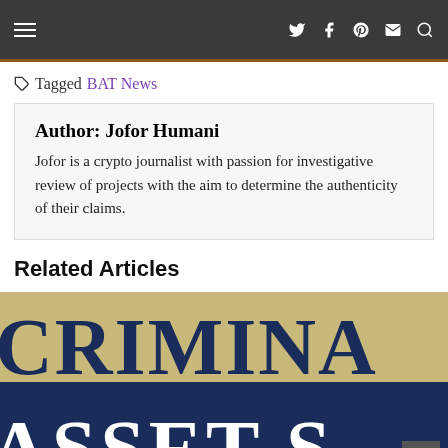Navigation bar with hamburger menu and social icons
Tagged BAT News
Author: Jofor Humani
Jofor is a crypto journalist with passion for investigative review of projects with the aim to determine the authenticity of their claims.
Related Articles
[Figure (photo): Close-up photo of a sign reading CRIMINAL ASSETS in large serif letters, top portion shows CRIMINAL in dark blue on tan background, bottom portion shows ASSETS in white on dark blue background.]